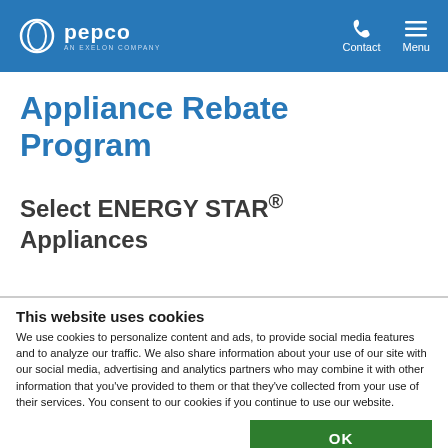pepco AN EXELON COMPANY | Contact | Menu
Appliance Rebate Program
Select ENERGY STAR® Appliances
This website uses cookies
We use cookies to personalize content and ads, to provide social media features and to analyze our traffic. We also share information about your use of our site with our social media, advertising and analytics partners who may combine it with other information that you've provided to them or that they've collected from your use of their services. You consent to our cookies if you continue to use our website.
OK
Necessary  Preferences  Statistics  Marketing  Show details